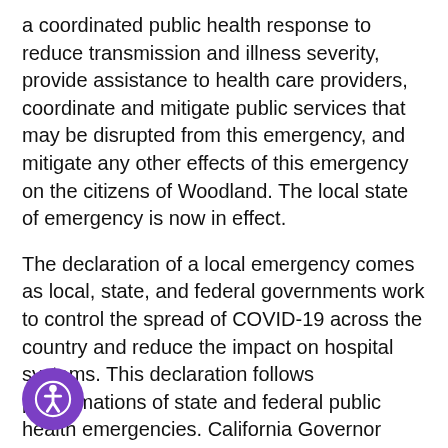a coordinated public health response to reduce transmission and illness severity, provide assistance to health care providers, coordinate and mitigate public services that may be disrupted from this emergency, and mitigate any other effects of this emergency on the citizens of Woodland. The local state of emergency is now in effect.
The declaration of a local emergency comes as local, state, and federal governments work to control the spread of COVID-19 across the country and reduce the impact on hospital systems. This declaration follows proclamations of state and federal public health emergencies. California Governor Gavin Newsom asked California residents to shelter in place to curb the spread of the COVID-19.
At this meeting, the City Council also adopted an emergency ordinance to prevent the eviction of residential tenants for non-payment of rent if the inability is due to COVID-19. The ordinance provides for a delay in rent payments but does not waive the
[Figure (other): Purple circular accessibility icon button (PageAssist) with a person/wheelchair symbol in white, positioned at bottom left of page.]